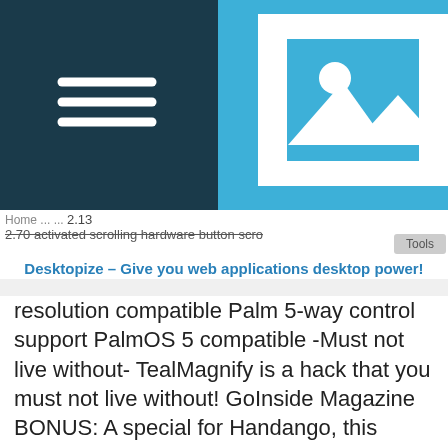[Figure (screenshot): Website header with dark navy left panel containing a hamburger menu icon, and a sky-blue right panel containing a white image placeholder icon (mountain/landscape icon)]
Home ... 2.13 2.70 activated scrolling hardware button scrolling resolution compatible Palm 5-way control support PalmOS 5 compatible
Desktopize – Give you web applications desktop power!
2.70 activated scrolling hardware button scrolling resolution compatible Palm 5-way control support PalmOS 5 compatible -Must not live without- TealMagnify is a hack that you must not live without! GoInside Magazine BONUS: A special for Handango, this enhanced bundle includes TealPoint VersionMaster for PalmOS. A $10 value, VersionMaster effortlessly tracks all your TealPoint applications, finding, downloading and installing new updates, when available.A leading provider of software solutions for handheld devices, TealPoint Software currently offers 30+ productivity products for the PalmOS platform. Selections include TealPoint...